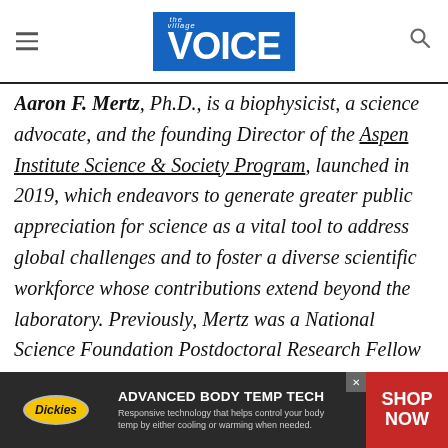the village VOICE
Aaron F. Mertz, Ph.D., is a biophysicist, a science advocate, and the founding Director of the Aspen Institute Science & Society Program, launched in 2019, which endeavors to generate greater public appreciation for science as a vital tool to address global challenges and to foster a diverse scientific workforce whose contributions extend beyond the laboratory. Previously, Mertz was a National Science Foundation Postdoctoral Research Fellow in stem cell and tissue biology at Rockefeller University. He has held leadership roles in advocacy for
[Figure (other): Dickies advertisement banner: ADVANCED BODY TEMP TECH - Responsive technology that helps control your body temp by either cooling or warming when needed. SHOP NOW]